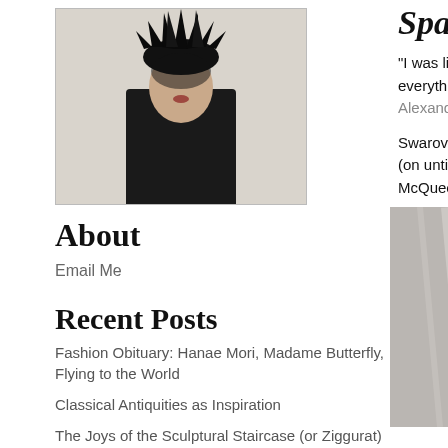[Figure (photo): Person wearing a large black spiky hat/headpiece, dressed in black, photographed against a light background]
About
Email Me
Recent Posts
Fashion Obituary: Hanae Mori, Madame Butterfly, Flying to the World
Classical Antiquities as Inspiration
The Joys of the Sculptural Staircase (or Ziggurat) Dress from Issey Miyake Back to Cinzia Ruggeri
Dichotomies in Issey Miyake's "Bodyworks"
Fashion Obituary: Issey Miyake, Between Vionnet and Christo
Art That Makes You Remember, Think &
Sparkling S…
"I was like a wi… everything. And… Alexander McQ…
Swarovski is o… (on until today … McQueen in co…
[Figure (photo): Blurred/abstract light gray and white image, possibly fabric or interior architecture]